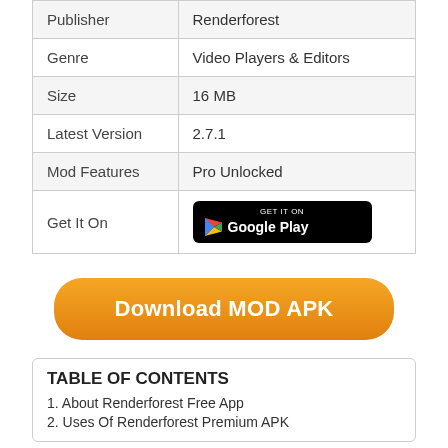|  |  |
| --- | --- |
| Publisher | Renderforest |
| Genre | Video Players & Editors |
| Size | 16 MB |
| Latest Version | 2.7.1 |
| Mod Features | Pro Unlocked |
| Get It On | [Google Play button] |
Download MOD APK
TABLE OF CONTENTS
1. About Renderforest Free App
2. Uses Of Renderforest Premium APK